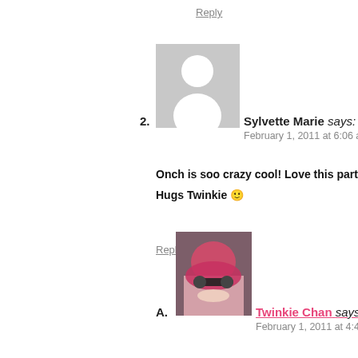Reply
[Figure (photo): Default avatar placeholder - grey square with white silhouette of a person]
2. Sylvette Marie says:
February 1, 2011 at 6:06 am
Onch is soo crazy cool! Love this part
Hugs Twinkie 🙂
Reply
[Figure (photo): Photo of Twinkie Chan, a woman with bright red/pink hair wearing glasses]
A. Twinkie Chan says:
February 1, 2011 at 4:42 pm